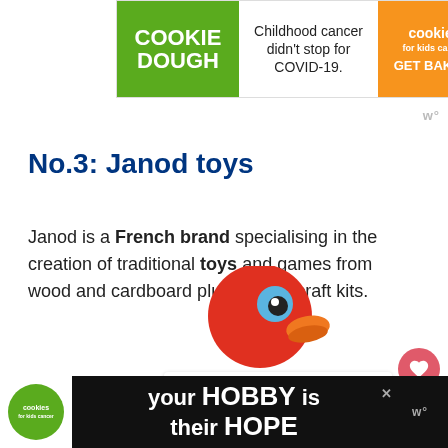[Figure (other): Top advertisement banner for Cookie Dough / Cookies for Kids Cancer. Left green section says COOKIE DOUGH, middle white section says Childhood cancer didn't stop for COVID-19., right orange section shows cookies for kids cancer logo and GET BAKING call to action.]
No.3: Janod toys
Janod is a French brand specialising in the creation of traditional toys and games from wood and cardboard plus art and craft kits.
[Figure (other): A colorful wooden toy bird (red head, blue eye, orange beak) partially visible at the bottom center of the page.]
[Figure (other): Bottom advertisement banner for Cookies for Kids Cancer. Black background with white bold text: your HOBBY is their HOPE. Cookies logo on left, Wibbitz logo on right.]